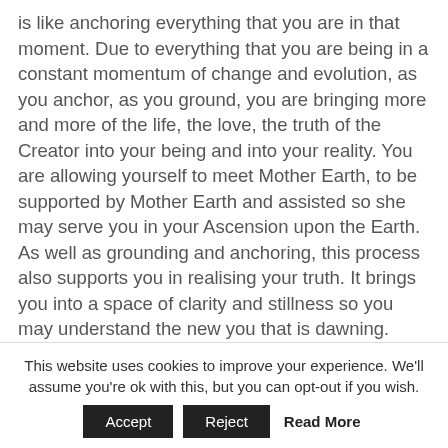is like anchoring everything that you are in that moment. Due to everything that you are being in a constant momentum of change and evolution, as you anchor, as you ground, you are bringing more and more of the life, the love, the truth of the Creator into your being and into your reality. You are allowing yourself to meet Mother Earth, to be supported by Mother Earth and assisted so she may serve you in your Ascension upon the Earth. As well as grounding and anchoring, this process also supports you in realising your truth. It brings you into a space of clarity and stillness so you may understand the new you that is dawning. With this understanding, recognition and acknowledgement, so you do not feel so confused or lost, you begin to become accustomed to the new expansion within your being and the new expansion of
This website uses cookies to improve your experience. We'll assume you're ok with this, but you can opt-out if you wish.